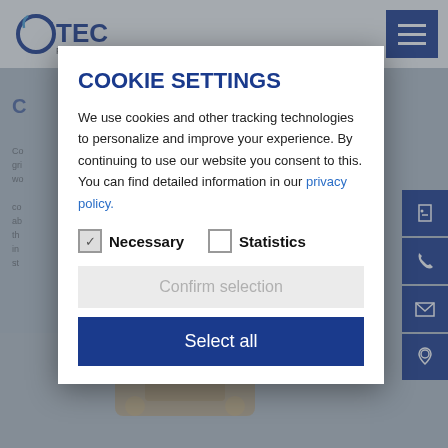[Figure (screenshot): OTEC website background with logo and navigation menu button, partially visible page content with section header and body text, and bottom product image area, all dimmed behind a cookie settings modal overlay]
COOKIE SETTINGS
We use cookies and other tracking technologies to personalize and improve your experience. By continuing to use our website you consent to this. You can find detailed information in our privacy policy.
Necessary  Statistics
Confirm selection
Select all